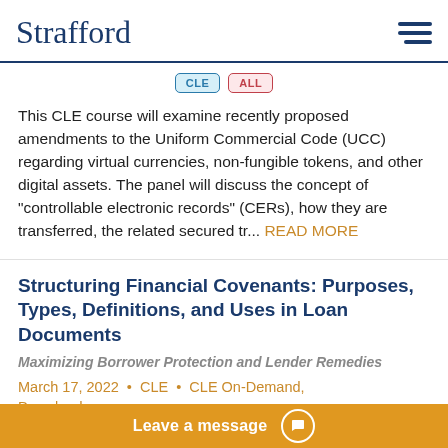Strafford
[Figure (other): CLE and ALL badge icons]
This CLE course will examine recently proposed amendments to the Uniform Commercial Code (UCC) regarding virtual currencies, non-fungible tokens, and other digital assets. The panel will discuss the concept of "controllable electronic records" (CERs), how they are transferred, the related secured tr... READ MORE
Structuring Financial Covenants: Purposes, Types, Definitions, and Uses in Loan Documents
Maximizing Borrower Protection and Lender Remedies
March 17, 2022  •  CLE  •  CLE On-Demand,  Download